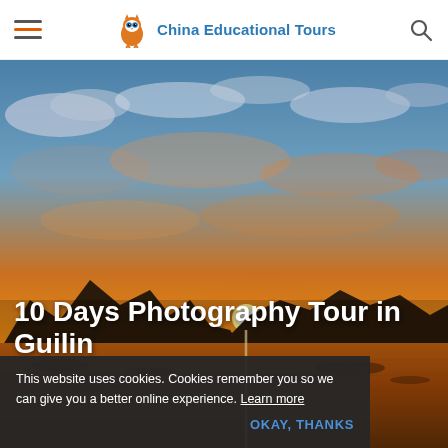China Educational Tours
[Figure (photo): Dramatic sunset landscape with golden sky, clouds, mountains silhouetted on the horizon, and reflective water/rice paddies in the foreground — Guilin scenery]
10 Days Photography Tour in Guilin
This website uses cookies. Cookies remember you so we can give you a better online experience. Learn more
OKAY, THANKS